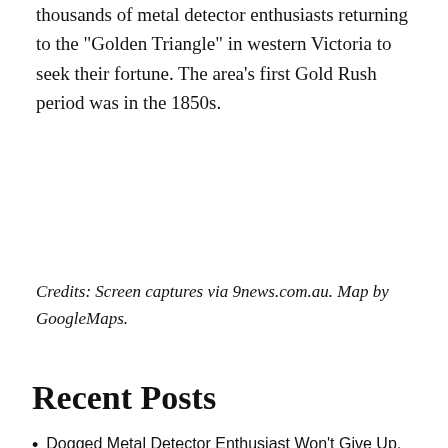thousands of metal detector enthusiasts returning to the "Golden Triangle" in western Victoria to seek their fortune. The area's first Gold Rush period was in the 1850s.
Credits: Screen captures via 9news.com.au. Map by GoogleMaps.
Recent Posts
Dogged Metal Detector Enthusiast Won't Give Up, Pulls Ring From Ocean on 3rd Try
Rare Purple Pearl Emerges From Littleneck Clam Appetizer at Delaware Eatery
McDonald's 'Litter and Glamour' Campaign Encourages Proper Trash Disposal
Music Friday: Olivia Newton-John Reminds Us That